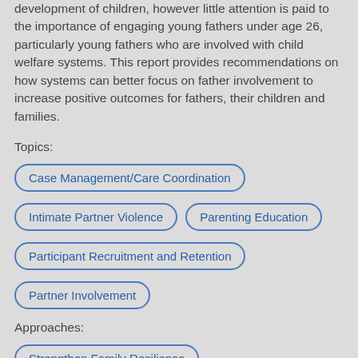development of children, however little attention is paid to the importance of engaging young fathers under age 26, particularly young fathers who are involved with child welfare systems. This report provides recommendations on how systems can better focus on father involvement to increase positive outcomes for fathers, their children and families.
Topics:
Case Management/Care Coordination
Intimate Partner Violence
Parenting Education
Participant Recruitment and Retention
Partner Involvement
Approaches:
Strengthen Family Resilience